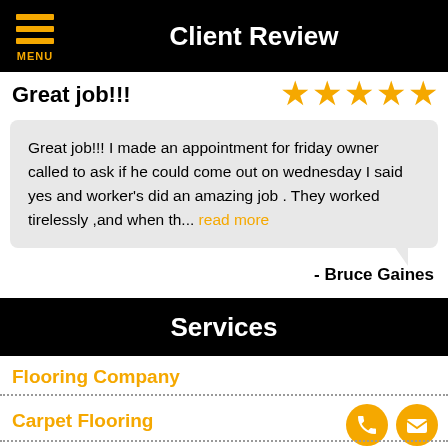Client Review
Great job!!!
Great job!!! I made an appointment for friday owner called to ask if he could come out on wednesday I said yes and worker's did an amazing job . They worked tirelessly ,and when th... read more
- Bruce Gaines
Services
Flooring Company
Carpet Flooring